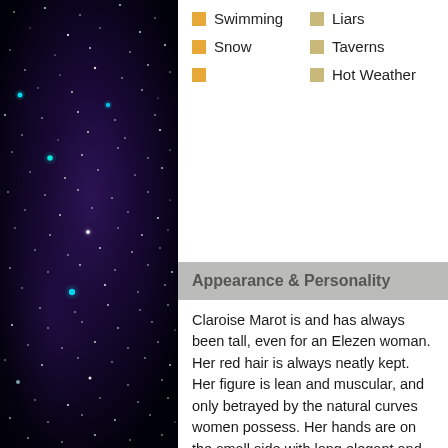[Figure (photo): Dark night sky with purple nebula and bright star clusters, used as a decorative left panel background.]
Swimming
Liars
Snow
Taverns
(empty bullet)
Hot Weather
Appearance & Personality
Claroise Marot is and has always been tall, even for an Elezen woman. Her red hair is always neatly kept. Her figure is lean and muscular, and only betrayed by the natural curves women possess. Her hands are on the small side with long elegant and well kept fingers. This elegance can also be betrayed by callouses from wielding lances from a